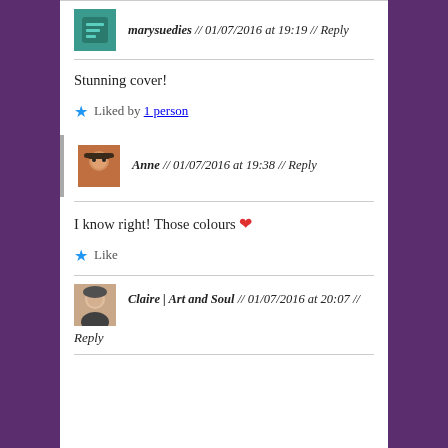marysuedies // 01/07/2016 at 19:19 // Reply
Stunning cover!
★ Liked by 1 person
Anne // 01/07/2016 at 19:38 // Reply
I know right! Those colours ❤
★ Like
Claire | Art and Soul // 01/07/2016 at 20:07 // Reply